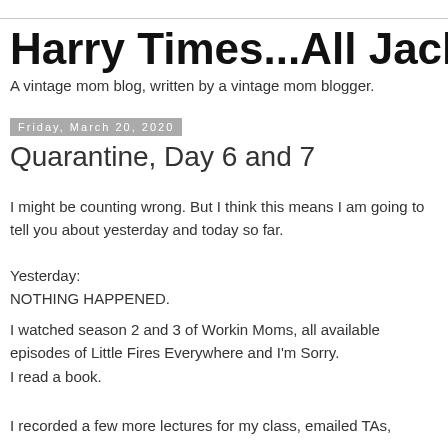Harry Times...All Jacked Up
A vintage mom blog, written by a vintage mom blogger.
Friday, March 20, 2020
Quarantine, Day 6 and 7
I might be counting wrong. But I think this means I am going to tell you about yesterday and today so far.
Yesterday:
NOTHING HAPPENED.
I watched season 2 and 3 of Workin Moms, all available episodes of Little Fires Everywhere and I'm Sorry.
I read a book.
I recorded a few more lectures for my class, emailed TAs,